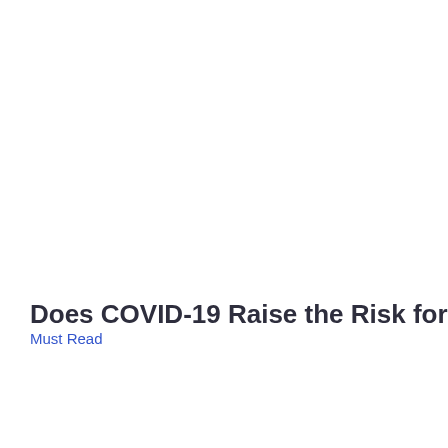Does COVID-19 Raise the Risk for Diabet
Must Read